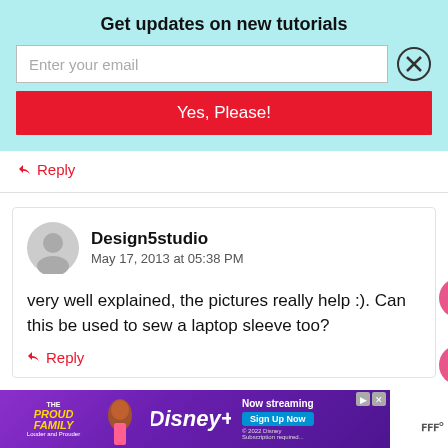Get updates on new tutorials
[Figure (screenshot): Email newsletter signup form with text input 'Enter your email', a close (X) button, and a red 'Yes, Please!' button on a cyan background]
↩ Reply
[Figure (illustration): Generic user avatar icon (gray circular person silhouette)]
Design5studio
May 17, 2013 at 05:38 PM
very well explained, the pictures really help :). Can this be used to sew a laptop sleeve too?
284
↩ Reply
[Figure (photo): Disney+ ad banner for The Proud Family featuring a character, Disney+ logo, 'Now Streaming' and 'Sign Up Now' button on purple background]